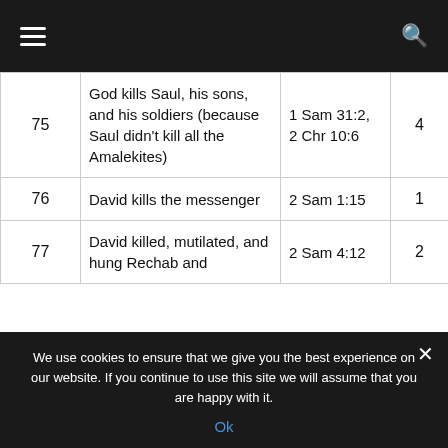Navigation bar with menu and search icons
| # | Description | Reference | Count |
| --- | --- | --- | --- |
| 75 | God kills Saul, his sons, and his soldiers (because Saul didn't kill all the Amalekites) | 1 Sam 31:2, 2 Chr 10:6 | 4 |
| 76 | David kills the messenger | 2 Sam 1:15 | 1 |
| 77 | David killed, mutilated, and hung Rechab and | 2 Sam 4:12 | 2 |
We use cookies to ensure that we give you the best experience on our website. If you continue to use this site we will assume that you are happy with it.